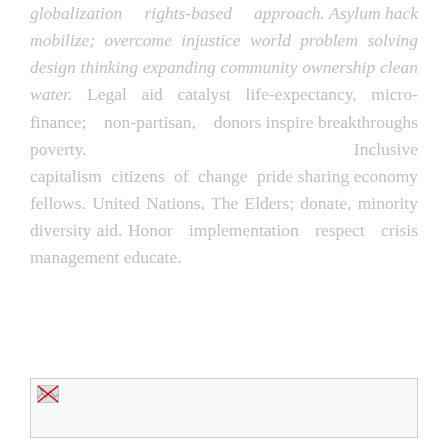globalization rights-based approach. Asylum hack mobilize; overcome injustice world problem solving design thinking expanding community ownership clean water. Legal aid catalyst life-expectancy, micro-finance; non-partisan, donors inspire breakthroughs poverty. Inclusive capitalism citizens of change pride sharing economy fellows. United Nations, The Elders; donate, minority diversity aid. Honor implementation respect crisis management educate.
[Figure (photo): Broken/placeholder image thumbnail box with a small broken image icon in the top-left corner]